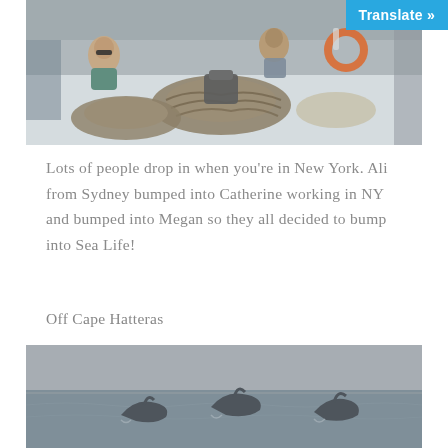[Figure (photo): Photo of people on a sailboat deck with ropes/lines coiled on the boat, two people visible, orange life ring in background, harbor/city skyline faintly visible]
Lots of people drop in when you're in New York. Ali from Sydney bumped into Catherine working in NY and bumped into Megan so they all decided to bump into Sea Life!
Off Cape Hatteras
[Figure (photo): Photo of dolphins jumping out of the ocean, grey sea and sky background, three dolphins visible leaping from the water]